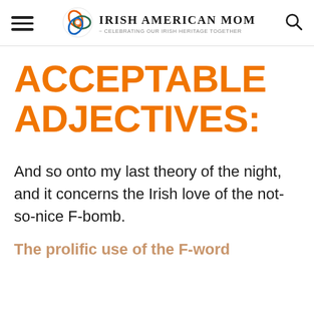Irish American Mom - Celebrating Our Irish Heritage Together
ACCEPTABLE ADJECTIVES:
And so onto my last theory of the night, and it concerns the Irish love of the not-so-nice F-bomb.
The prolific use of the F-word